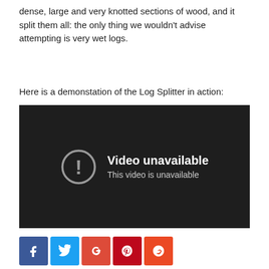dense, large and very knotted sections of wood, and it split them all: the only thing we wouldn't advise attempting is very wet logs.
Here is a demonstation of the Log Splitter in action:
[Figure (screenshot): Embedded video player showing 'Video unavailable – This video is unavailable' message with a grey exclamation icon on a dark background.]
[Figure (infographic): Social media share buttons: Facebook (blue), Twitter (light blue), Google+ (red), Pinterest (dark red), StumbleUpon (orange-red).]